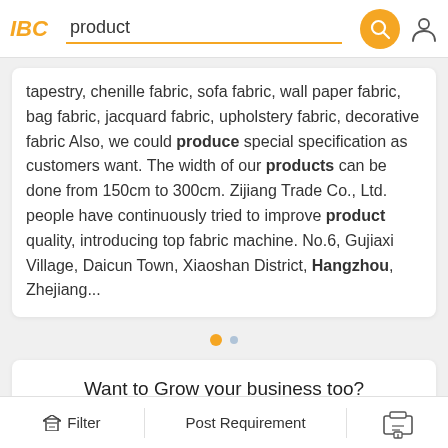IBC | product
tapestry, chenille fabric, sofa fabric, wall paper fabric, bag fabric, jacquard fabric, upholstery fabric, decorative fabric Also, we could produce special specification as customers want. The width of our products can be done from 150cm to 300cm. Zijiang Trade Co., Ltd. people have continuously tried to improve product quality, introducing top fabric machine. No.6, Gujiaxi Village, Daicun Town, Xiaoshan District, Hangzhou, Zhejiang...
Want to Grow your business too?
Register Free
Filter | Post Requirement